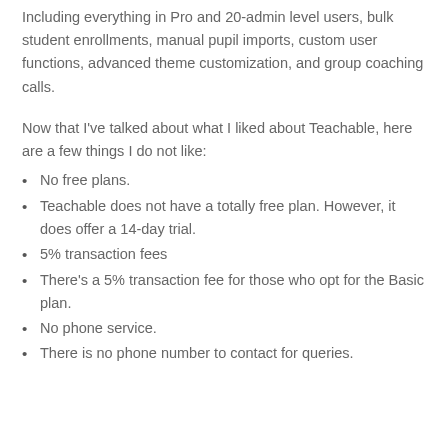Including everything in Pro and 20-admin level users, bulk student enrollments, manual pupil imports, custom user functions, advanced theme customization, and group coaching calls.
Now that I've talked about what I liked about Teachable, here are a few things I do not like:
No free plans.
Teachable does not have a totally free plan. However, it does offer a 14-day trial.
5% transaction fees
There's a 5% transaction fee for those who opt for the Basic plan.
No phone service.
There is no phone number to contact for queries.